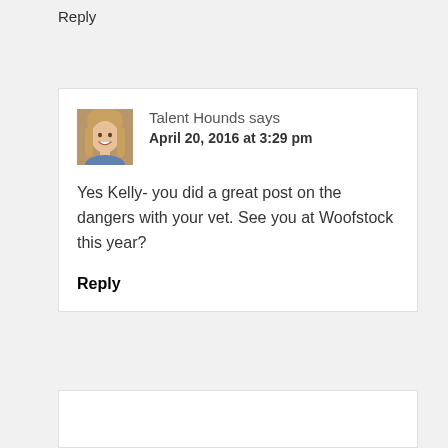Reply
[Figure (photo): Profile photo of a smiling blonde woman]
Talent Hounds says
April 20, 2016 at 3:29 pm
Yes Kelly- you did a great post on the dangers with your vet. See you at Woofstock this year?
Reply